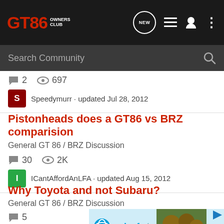[Figure (screenshot): GT86 Owners Club navigation bar with logo, NEW button, list icon, user icon, and dots menu]
[Figure (screenshot): Search Community search bar with magnifying glass icon]
2  697
Speedymurr · updated Jul 28, 2012
Pistonheads does a GT86 vs BRZ comparision
General GT 86 / BRZ Discussion
30  2K
ICantAffordAnLFA · updated Aug 15, 2012
Why Toyota and not Subaru?
General GT 86 / BRZ Discussion
5
[Figure (photo): UNICEF advertisement banner with logo and photo of children]
Dan